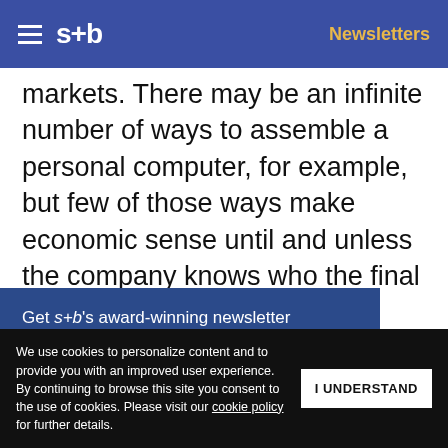s+b  Newsletters
markets. There may be an infinite number of ways to assemble a personal computer, for example, but few of those ways make economic sense until and unless the company knows who the final customer is. This concept is called postponement, and, of course, there are different ways of achieving it depending on
Get s+b's award-winning newsletter delivered to your inbox.
actured.
ges in light
We use cookies to personalize content and to provide you with an improved user experience. By continuing to browse this site you consent to the use of cookies. Please visit our cookie policy for further details.